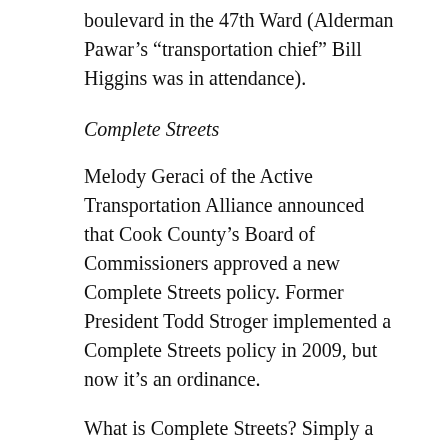boulevard in the 47th Ward (Alderman Pawar's “transportation chief” Bill Higgins was in attendance).
Complete Streets
Melody Geraci of the Active Transportation Alliance announced that Cook County’s Board of Commissioners approved a new Complete Streets policy. Former President Todd Stroger implemented a Complete Streets policy in 2009, but now it’s an ordinance.
What is Complete Streets? Simply a policy that transportation and infrastructure projects consider the needs of all users of all ages and abilities.
Instituting a complete streets policy ensures that transportation